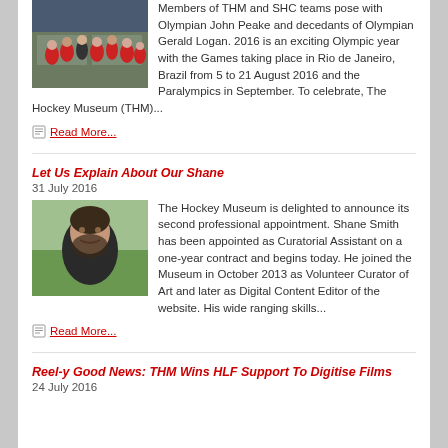[Figure (photo): Group photo of THM and SHC team members in red jackets posing indoors]
Members of THM and SHC teams pose with Olympian John Peake and decedants of Olympian Gerald Logan. 2016 is an exciting Olympic year with the Games taking place in Rio de Janeiro, Brazil from 5 to 21 August 2016 and the Paralympics in September. To celebrate, The Hockey Museum (THM)...
Read More...
Let Us Explain About Our Shane
31 July 2016
[Figure (photo): Portrait photo of Shane Smith, a young man with dark hair and beard, smiling outdoors]
The Hockey Museum is delighted to announce its second professional appointment. Shane Smith has been appointed as Curatorial Assistant on a one-year contract and begins today. He joined the Museum in October 2013 as Volunteer Curator of Art and later as Digital Content Editor of the website. His wide ranging skills...
Read More...
Reel-y Good News: THM Wins HLF Support To Digitise Films
24 July 2016